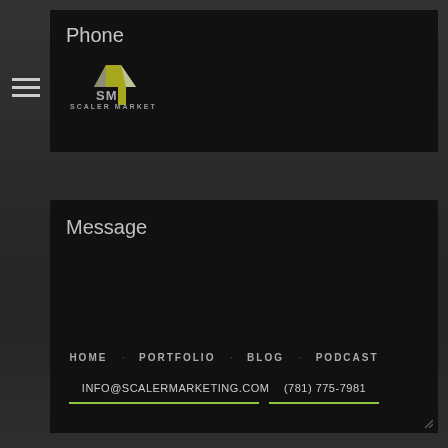Phone
[Figure (logo): Scaler Marketing logo with upward arrow and 'SM' initials, text 'SCALER MARKETING' below]
Message
Submit
HOME   PORTFOLIO   BLOG   PODCAST
INFO@SCALERMARKETING.COM   (781) 775-7981